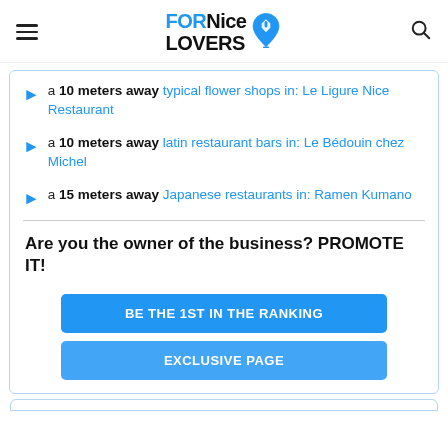FORNice LOVERS
a 10 meters away typical flower shops in: Le Ligure Nice Restaurant
a 10 meters away latin restaurant bars in: Le Bédouin chez Michel
a 15 meters away Japanese restaurants in: Ramen Kumano
Are you the owner of the business? PROMOTE IT!
BE THE 1ST IN THE RANKING
EXCLUSIVE PAGE